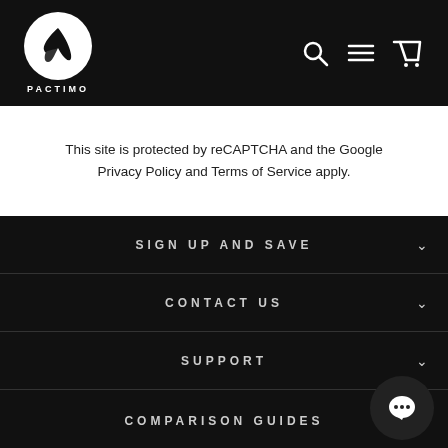[Figure (logo): Pactimo logo: white circle with black bird/arrow mark, text PACTIMO below]
This site is protected by reCAPTCHA and the Google Privacy Policy and Terms of Service apply.
SIGN UP AND SAVE
CONTACT US
SUPPORT
COMPARISON GUIDES